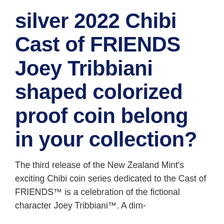silver 2022 Chibi Cast of FRIENDS Joey Tribbiani shaped colorized proof coin belong in your collection?
The third release of the New Zealand Mint's exciting Chibi coin series dedicated to the Cast of FRIENDS™ is a celebration of the fictional character Joey Tribbiani™. A dim-